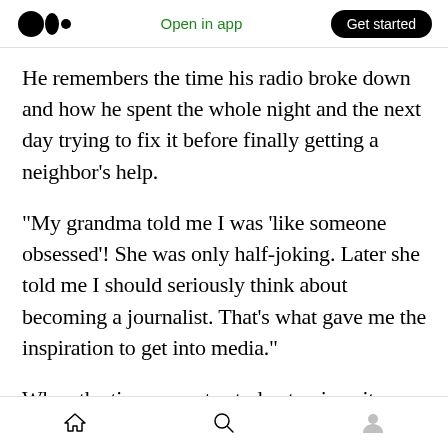Medium app header with logo, Open in app, Get started
He remembers the time his radio broke down and how he spent the whole night and the next day trying to fix it before finally getting a neighbor’s help.
“My grandma told me I was ‘like someone obsessed’! She was only half-joking. Later she told me I should seriously think about becoming a journalist. That’s what gave me the inspiration to get into media.”
When the time came to study at university, Abdulpataah enrolled in a degree course in
Bottom navigation: Home, Search, Profile